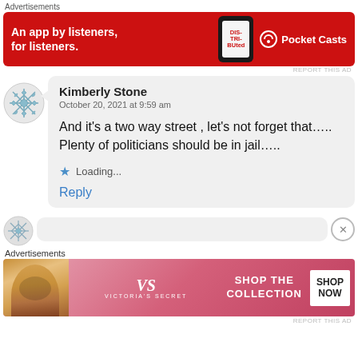Advertisements
[Figure (screenshot): Red advertisement banner for Pocket Casts app: 'An app by listeners, for listeners.' with phone graphic and Pocket Casts logo]
REPORT THIS AD
Kimberly Stone
October 20, 2021 at 9:59 am

And it's a two way street , let's not forget that.....
Plenty of politicians should be in jail....

★ Loading...

Reply
Advertisements
[Figure (screenshot): Victoria's Secret advertisement banner: 'SHOP THE COLLECTION' with 'SHOP NOW' button, woman's face on left, pink background]
REPORT THIS AD